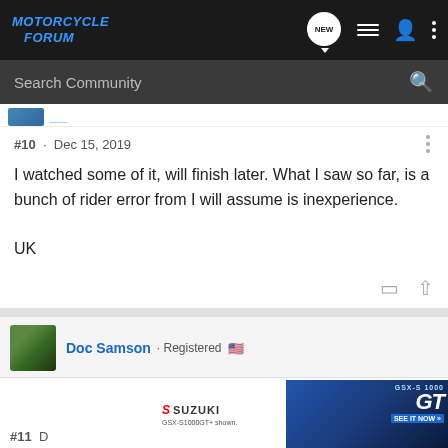MOTORCYCLE FORUM
Search Community
#10 · Dec 15, 2019
I watched some of it, will finish later. What I saw so far, is a bunch of rider error from I will assume is inexperience.

UK
Doc Samson · Registered 🇺🇸
J
[Figure (photo): Suzuki GSX-S1000GT advertisement banner at the bottom of the page]
#11 D